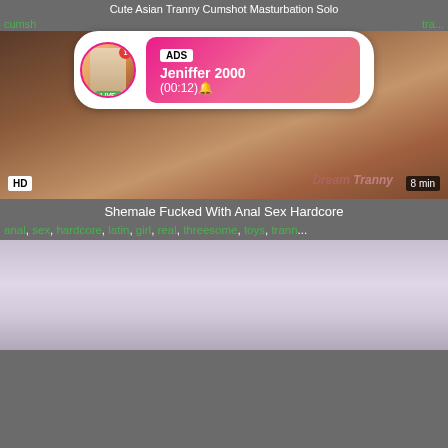Cute Asian Tranny Cumshot Masturbation Solo
cums... tra...
[Figure (photo): Video thumbnail with HD badge, 8 min duration, DreamTranny watermark, with ad overlay popup showing avatar with LIVE badge, ADS label, Jeniffer 2000, (00:12)]
Shemale Fucked With Anal Sex Hardcore
anal, sex, hardcore, latin, girl, real, threesome, toys, trann...
[Figure (photo): Video thumbnail showing woman with cat ears in pink/purple costume]